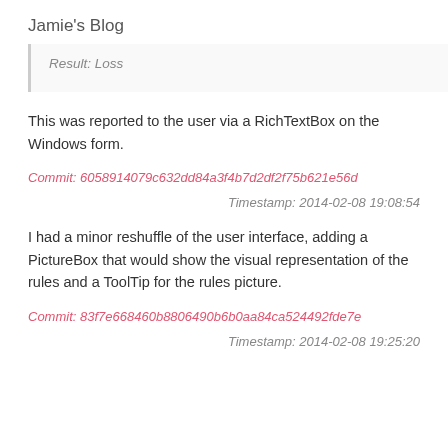Jamie's Blog
Result: Loss
This was reported to the user via a RichTextBox on the Windows form.
Commit: 6058914079c632dd84a3f4b7d2df2f75b621e56d
Timestamp: 2014-02-08 19:08:54
I had a minor reshuffle of the user interface, adding a PictureBox that would show the visual representation of the rules and a ToolTip for the rules picture.
Commit: 83f7e668460b8806490b6b0aa84ca524492fde7e
Timestamp: 2014-02-08 19:25:20